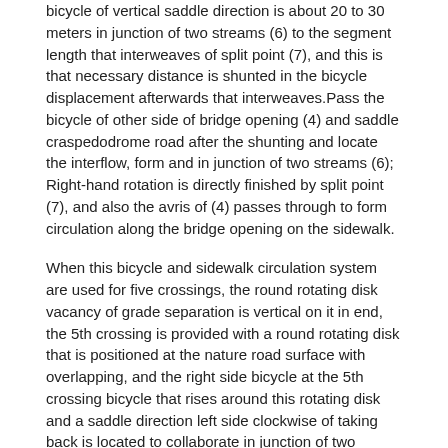bicycle of vertical saddle direction is about 20 to 30 meters in junction of two streams (6) to the segment length that interweaves of split point (7), and this is that necessary distance is shunted in the bicycle displacement afterwards that interweaves.Pass the bicycle of other side of bridge opening (4) and saddle craspedodrome road after the shunting and locate the interflow, form and in junction of two streams (6); Right-hand rotation is directly finished by split point (7), and also the avris of (4) passes through to form circulation along the bridge opening on the sidewalk.
When this bicycle and sidewalk circulation system are used for five crossings, the round rotating disk vacancy of grade separation is vertical on it in end, the 5th crossing is provided with a round rotating disk that is positioned at the nature road surface with overlapping, and the right side bicycle at the 5th crossing bicycle that rises around this rotating disk and a saddle direction left side clockwise of taking back is located to collaborate in junction of two streams (6); The two-way direct lane of saddle direction also passes through in parting strip both sides subtend through saddle paddy (9) promptly main bridge crossing